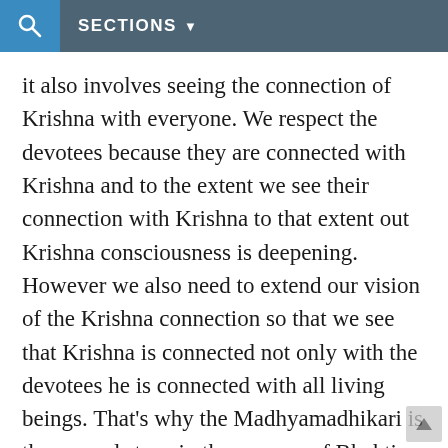SECTIONS
it also involves seeing the connection of Krishna with everyone. We respect the devotees because they are connected with Krishna and to the extent we see their connection with Krishna to that extent out Krishna consciousness is deepening. However we also need to extend our vision of the Krishna connection so that we see that Krishna is connected not only with the devotees he is connected with all living beings. That's why the Madhyamadhikari is the second stage in the process of Bhakti. In the first stage a person is just thinking that I am connected with